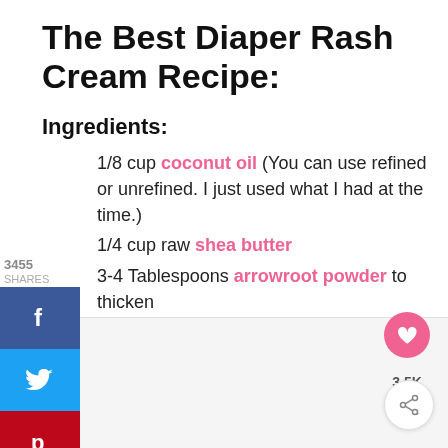The Best Diaper Rash Cream Recipe:
Ingredients:
3455 SHARES
1/8 cup coconut oil (You can use refined or unrefined. I just used what I had at the time.)
1/4 cup raw shea butter
3-4 Tablespoons arrowroot powder to thicken